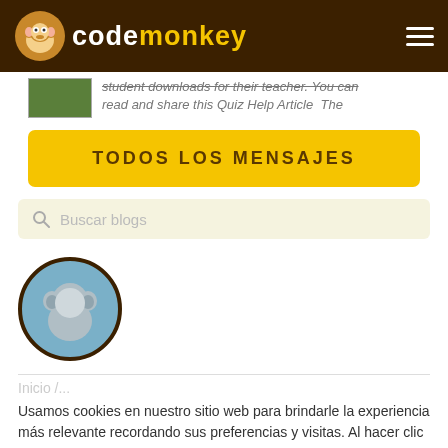CodeMonkey
student downloads for their teacher. You can read and share this Quiz Help Article  The
TODOS LOS MENSAJES
Buscar blogs
[Figure (illustration): CodeMonkey avatar monkey character inside a blue circle with dark brown border]
Usamos cookies en nuestro sitio web para brindarle la experiencia más relevante recordando sus preferencias y visitas. Al hacer clic en "Aceptar", acepta el uso de TODAS las cookies. Sin embargo, puede visitar la Configuración de cookies para proporcionar un consentimiento controlado.